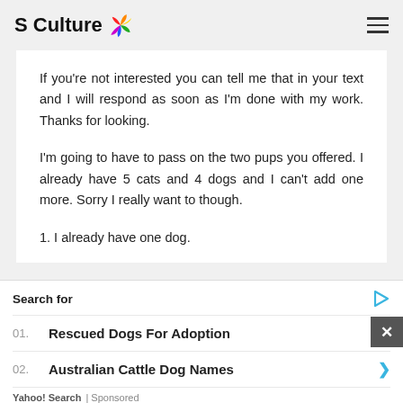S Culture
If you're not interested you can tell me that in your text and I will respond as soon as I'm done with my work. Thanks for looking.
I'm going to have to pass on the two pups you offered. I already have 5 cats and 4 dogs and I can't add one more. Sorry I really want to though.
1. I already have one dog.
Search for
01. Rescued Dogs For Adoption
02. Australian Cattle Dog Names
Yahoo! Search | Sponsored